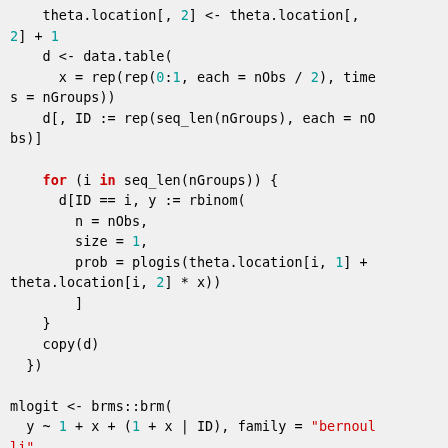R code block showing data simulation and brms model fitting with theta.location indexing, data.table construction, for loop with rbinom, and mlogit brm call